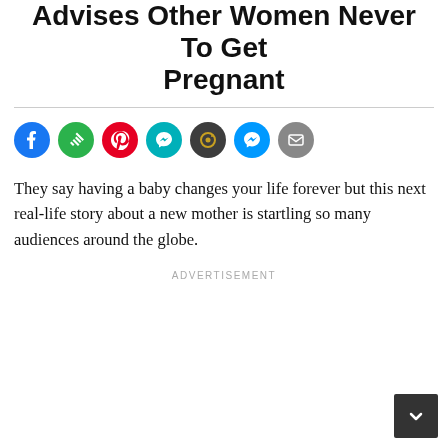Advises Other Women Never To Get Pregnant
[Figure (infographic): Row of social media sharing icons: Facebook (blue), Feedly (green), Pinterest (red), Messenger/notifications (teal), Instagram-style (dark grey/gold), Facebook Messenger (blue), Email (grey)]
They say having a baby changes your life forever but this next real-life story about a new mother is startling so many audiences around the globe.
ADVERTISEMENT